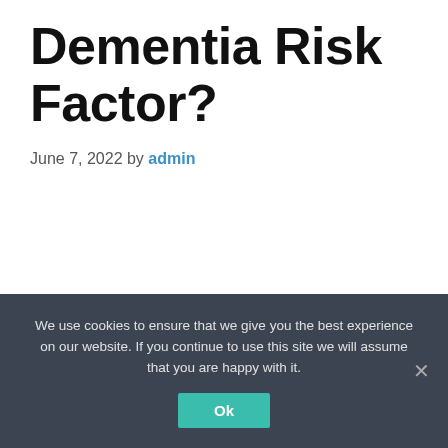Dementia Risk Factor?
June 7, 2022 by admin
We use cookies to ensure that we give you the best experience on our website. If you continue to use this site we will assume that you are happy with it. Ok